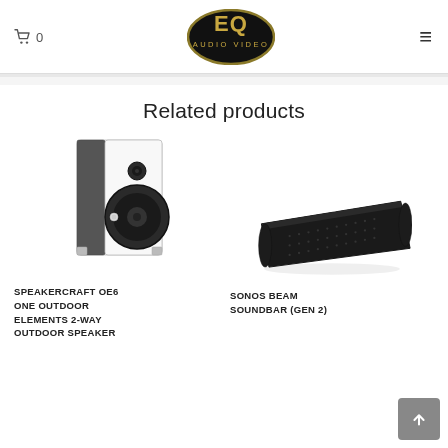EQ Audio Video — cart 0, hamburger menu
Related products
[Figure (photo): White outdoor speaker — SpeakerCraft OE6 One Outdoor Elements 2-Way Outdoor Speaker]
SPEAKERCRAFT OE6 ONE OUTDOOR ELEMENTS 2-WAY OUTDOOR SPEAKER
[Figure (photo): Black Sonos Beam soundbar — Sonos Beam Soundbar (Gen 2)]
SONOS BEAM SOUNDBAR (GEN 2)